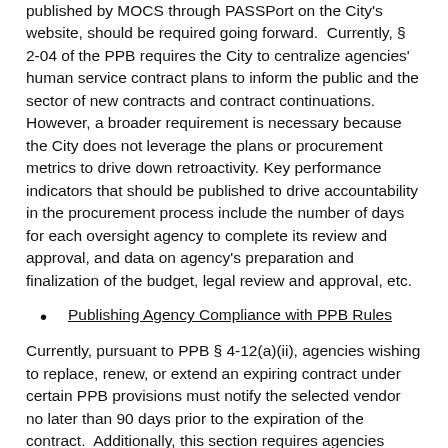published by MOCS through PASSPort on the City's website, should be required going forward.  Currently, § 2-04 of the PPB requires the City to centralize agencies' human service contract plans to inform the public and the sector of new contracts and contract continuations. However, a broader requirement is necessary because the City does not leverage the plans or procurement metrics to drive down retroactivity. Key performance indicators that should be published to drive accountability in the procurement process include the number of days for each oversight agency to complete its review and approval, and data on agency's preparation and finalization of the budget, legal review and approval, etc.
Publishing Agency Compliance with PPB Rules
Currently, pursuant to PPB § 4-12(a)(ii), agencies wishing to replace, renew, or extend an expiring contract under certain PPB provisions must notify the selected vendor no later than 90 days prior to the expiration of the contract.  Additionally, this section requires agencies wishing to replace a contract by means of a new RFP award to publish a Notice of Solicitation no later than 250 days prior to the expiration of